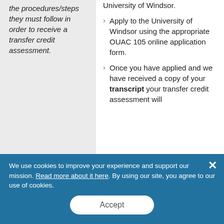the procedures/steps they must follow in order to receive a transfer credit assessment.
University of Windsor.
Apply to the University of Windsor using the appropriate OUAC 105 online application form.
Once you have applied and we have received a copy of your transcript your transfer credit assessment will
We use cookies to improve your experience and support our mission. Read more about it here. By using our site, you agree to our use of cookies.
Accept